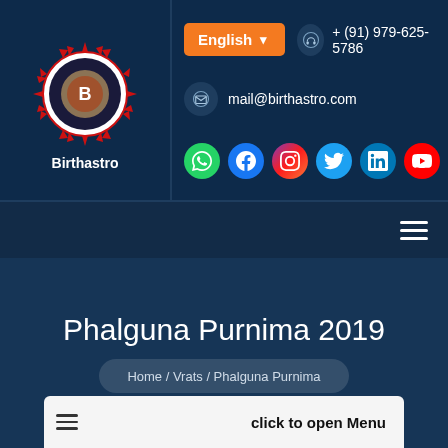[Figure (logo): Birthastro circular logo with sun rays and text 'Birthastro' below]
English ▾
+ (91) 979-625-5786
mail@birthastro.com
[Figure (infographic): Social media icons row: WhatsApp, Facebook, Instagram, Twitter, LinkedIn, YouTube]
[Figure (infographic): Hamburger menu icon (three lines) in nav bar]
Phalguna Purnima 2019
Home / Vrats / Phalguna Purnima
click to open Menu